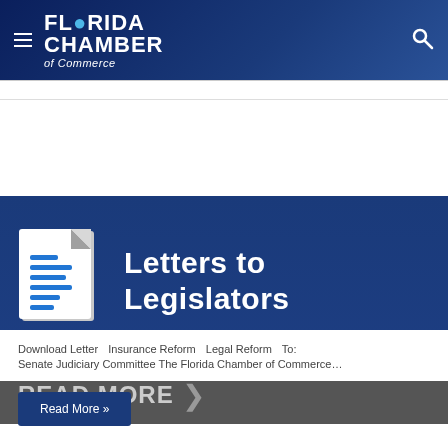Florida Chamber of Commerce
[Figure (screenshot): Florida Chamber of Commerce website screenshot showing a 'Letters to Legislators' banner with document icon, followed by a 'READ MORE' bar, and article tags and excerpt below]
Download Letter   Insurance Reform   Legal Reform   To: Senate Judiciary Committee The Florida Chamber of Commerce…
Read More »